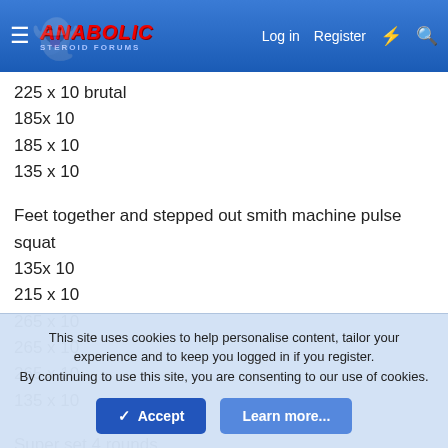Anabolic Steroid Forums — Log in | Register
225 x 10 brutal
185x 10
185 x 10
135 x 10
Feet together and stepped out smith machine pulse squat
135x 10
215 x 10
265 x 10
265 x 10
265 x 10
135 x 10
Super set 4 rounds
Laying single leg, leg curls with sliders
This site uses cookies to help personalise content, tailor your experience and to keep you logged in if you register.
By continuing to use this site, you are consenting to our use of cookies.